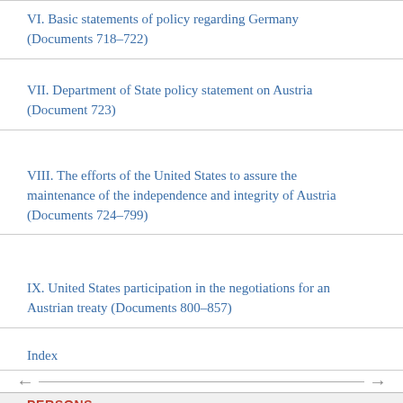VI. Basic statements of policy regarding Germany (Documents 718–722)
VII. Department of State policy statement on Austria (Document 723)
VIII. The efforts of the United States to assure the maintenance of the independence and integrity of Austria (Documents 724–799)
IX. United States participation in the negotiations for an Austrian treaty (Documents 800–857)
Index
PERSONS
Bonnet, Henri